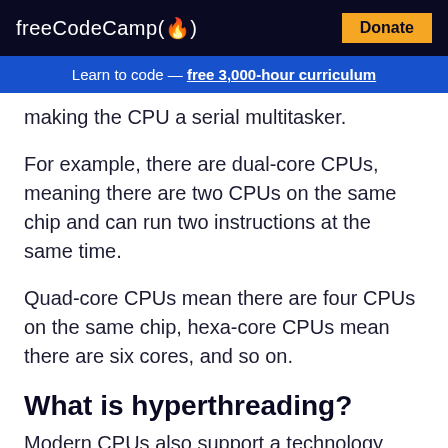freeCodeCamp(🔥)  Donate
Learn to code — free 3,000-hour curriculum
making the CPU a serial multitasker.
For example, there are dual-core CPUs, meaning there are two CPUs on the same chip and can run two instructions at the same time.
Quad-core CPUs mean there are four CPUs on the same chip, hexa-core CPUs mean there are six cores, and so on.
What is hyperthreading?
Modern CPUs also support a technology called